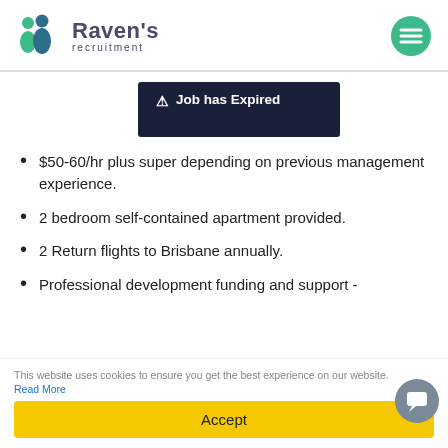Raven's recruitment
[Figure (infographic): Job has Expired banner with warning triangle icon on dark navy background]
$50-60/hr plus super depending on previous management experience.
2 bedroom self-contained apartment provided.
2 Return flights to Brisbane annually.
Professional development funding and support -
This website uses cookies to ensure you get the best experience on our website. Read More
Accept